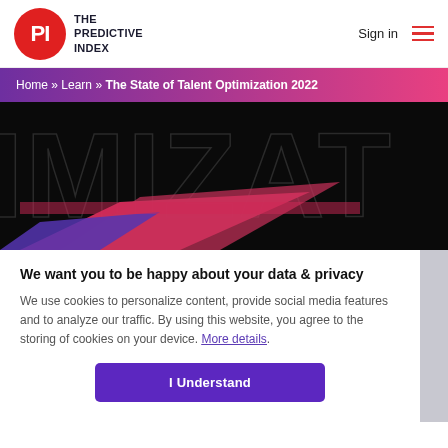[Figure (logo): The Predictive Index logo: red circle with PI letters, and text THE PREDICTIVE INDEX]
Sign in  ☰
Home » Learn » The State of Talent Optimization 2022
[Figure (illustration): Dark hero banner with large partially visible letters IMIZAT in dark outline style, with pink/red geometric shapes overlapping at bottom]
We want you to be happy about your data & privacy
We use cookies to personalize content, provide social media features and to analyze our traffic. By using this website, you agree to the storing of cookies on your device. More details.
I Understand